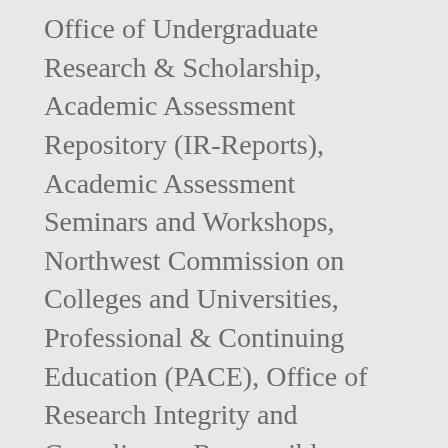Office of Undergraduate Research & Scholarship, Academic Assessment Repository (IR-Reports), Academic Assessment Seminars and Workshops, Northwest Commission on Colleges and Universities, Professional & Continuing Education (PACE), Office of Research Integrity and Compliance, Responsible Conduct of Research Training (RCR), Institutional Animal Care and Use Committee, Native American Graves Protection and Repatriation Act Committee, Environmental Health & Safety/Risk Management, Office of Research Integrity & Compliance, Info for Campus Partners and Student Organizations, Migrate Departmental Account to Google Delegated, Service